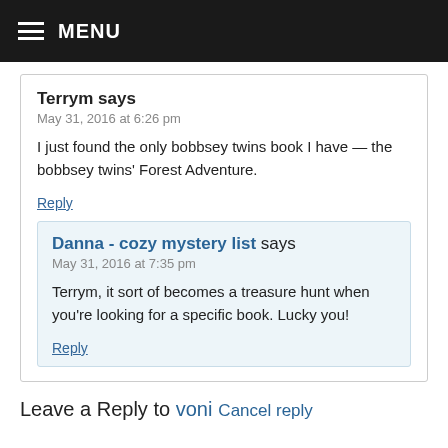MENU
Terrym says
May 31, 2016 at 6:26 pm
I just found the only bobbsey twins book I have — the bobbsey twins' Forest Adventure.
Reply
Danna - cozy mystery list says
May 31, 2016 at 7:35 pm
Terrym, it sort of becomes a treasure hunt when you're looking for a specific book. Lucky you!
Reply
Leave a Reply to voni Cancel reply